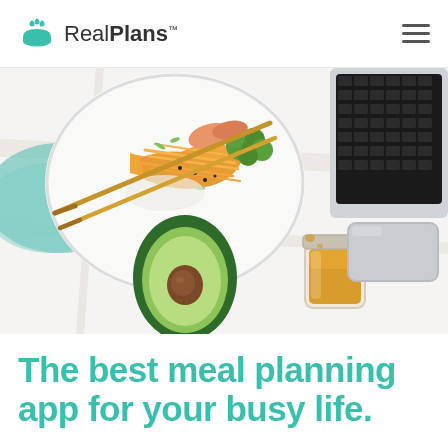RealPlans.
[Figure (photo): Overhead flat-lay photo showing a white bowl of colorful salad with shredded carrots, broccoli, salmon and chopsticks on a teal cloth; half an avocado; a small jar of golden dressing; and a laptop, all on a white marble surface.]
The best meal planning app for your busy life.